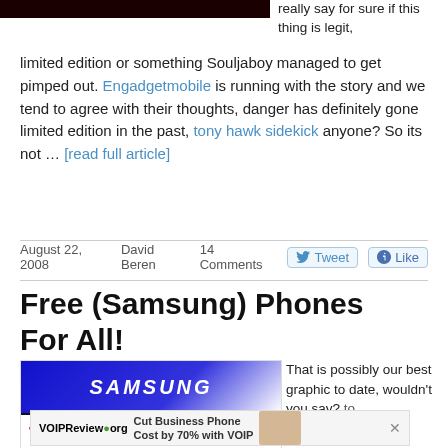[Figure (photo): Dark banner image at top left]
really say for sure if this thing is legit, limited edition or something Souljaboy managed to get pimped out. Engadgetmobile is running with the story and we tend to agree with their thoughts, danger has definitely gone limited edition in the past, tony hawk sidekick anyone? So its not … [read full article]
August 22, 2008   David Beren   14 Comments   Tweet   Like
Free (Samsung) Phones For All!
[Figure (photo): Samsung logo image with T-Mobile logo at bottom]
That is possibly our best graphic to date, wouldn't you say?
[Figure (photo): VOIPReview.org advertisement banner - Cut Business Phone Cost by 70% with VOIP]